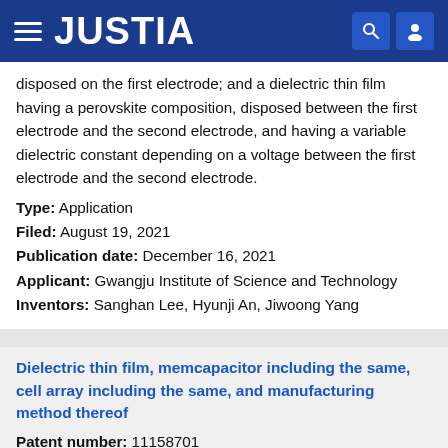JUSTIA
disposed on the first electrode; and a dielectric thin film having a perovskite composition, disposed between the first electrode and the second electrode, and having a variable dielectric constant depending on a voltage between the first electrode and the second electrode.
Type: Application
Filed: August 19, 2021
Publication date: December 16, 2021
Applicant: Gwangju Institute of Science and Technology
Inventors: Sanghan Lee, Hyunji An, Jiwoong Yang
Dielectric thin film, memcapacitor including the same, cell array including the same, and manufacturing method thereof
Patent number: 11158701
Abstract: Provided is a memcapacitor. The memcapacitor includes: a first electrode having a metal